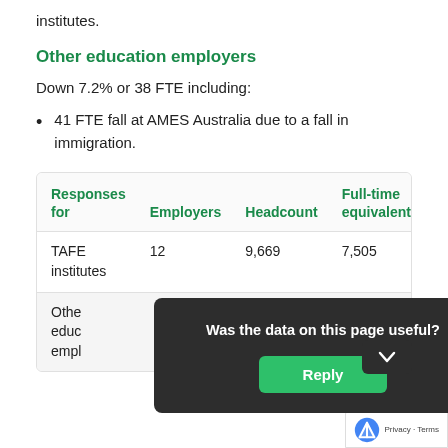institutes.
Other education employers
Down 7.2% or 38 FTE including:
41 FTE fall at AMES Australia due to a fall in immigration.
| Responses for | Employers | Headcount | Full-time equivalent |
| --- | --- | --- | --- |
| TAFE institutes | 12 | 9,669 | 7,505 |
| Other education employers |  |  |  |
Was the data on this page useful?